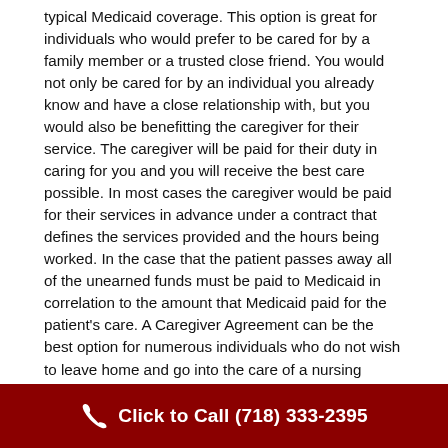typical Medicaid coverage. This option is great for individuals who would prefer to be cared for by a family member or a trusted close friend. You would not only be cared for by an individual you already know and have a close relationship with, but you would also be benefitting the caregiver for their service. The caregiver will be paid for their duty in caring for you and you will receive the best care possible. In most cases the caregiver would be paid for their services in advance under a contract that defines the services provided and the hours being worked. In the case that the patient passes away all of the unearned funds must be paid to Medicaid in correlation to the amount that Medicaid paid for the patient's care. A Caregiver Agreement can be the best option for numerous individuals who do not wish to leave home and go into the care of a nursing home, as they would still be able to maintain their full Medicaid coverage. An Elder Care Attorney can help you make the decision if
Click to Call (718) 333-2395